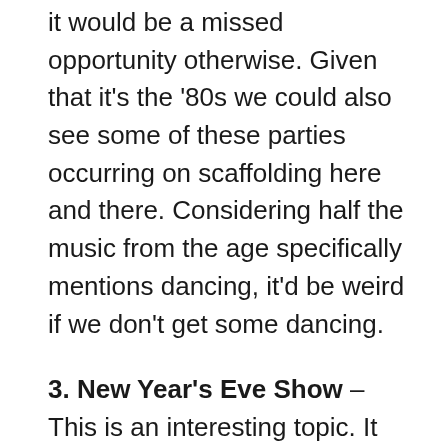it would be a missed opportunity otherwise. Given that it's the '80s we could also see some of these parties occurring on scaffolding here and there. Considering half the music from the age specifically mentions dancing, it'd be weird if we don't get some dancing.
3. New Year's Eve Show – This is an interesting topic. It would be really awesome to see a Dick Clark New Year's Eve show. Even better, it would be amazing to see the ruins of one of these shows with Vamps running wild through the set.